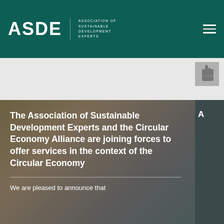ASDE — ASSOCIATION OF SUSTAINABLE DEVELOPMENT EXPERTS
[Figure (photo): Gray area with cursor/hand icon in top right]
The Association of Sustainable Development Experts and the Circular Economy Alliance are joining forces to offer services in the context of the Circular Economy
We are pleased to announce that